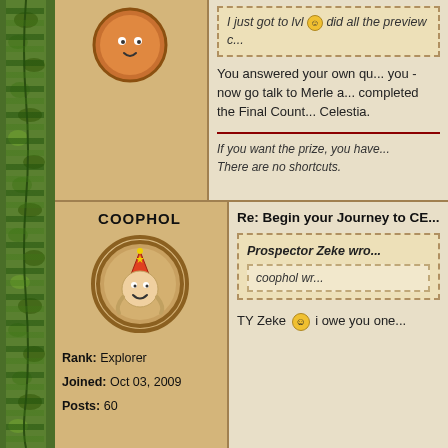[Figure (illustration): Decorative left border with green leafy/vine pattern]
[Figure (illustration): Top-left avatar: circular avatar with orange/red character, partially visible at top]
I just got to lvl [emoji] did all the preview c...
You answered your own qu... you - now go talk to Merle a... completed the Final Count... Celestia.
If you want the prize, you have... There are no shortcuts.
COOPHOL
[Figure (illustration): Bottom-left avatar: circular avatar showing cartoon character wearing party hat]
Rank: Explorer
Joined: Oct 03, 2009
Posts: 60
Re: Begin your Journey to CE...
Prospector Zeke wro...
coophol wr...
TY Zeke [smiley] i owe you one...